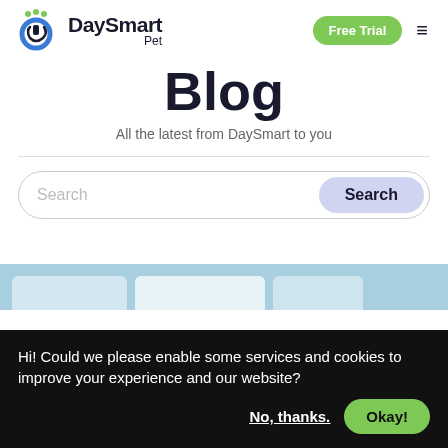[Figure (logo): DaySmart Pet logo with circular blue and green icon and brand name text]
Blog
All the latest from DaySmart to you
[Figure (screenshot): Search bar with placeholder text 'Search' and a Search button]
Hi! Could we please enable some services and cookies to improve your experience and our website?
No, thanks.
Okay!